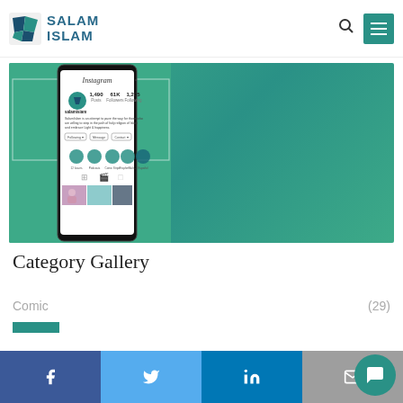[Figure (logo): Salam Islam logo with geometric teal/dark blue icon and text 'SALAM ISLAM']
[Figure (screenshot): Instagram profile screenshot of salamisiam on a phone mockup with green gradient background. Shows 1,490 Posts, 61K Followers, 1,205 Following. Bio reads: salamisiam - SalamIslam is an attempt to pave the way for those who are willing to step in the path of holy religion of Islam and embrace Light & happiness. Category icons shown: 12 Issues, Podcasts, Comic Strips, ProphetMuh..., Español]
Category Gallery
Comic (29)
[Figure (other): Teal colored bar/button at bottom left]
[Figure (infographic): Social share footer bar with Facebook, Twitter, LinkedIn, Email icons and a teal chat bubble button]